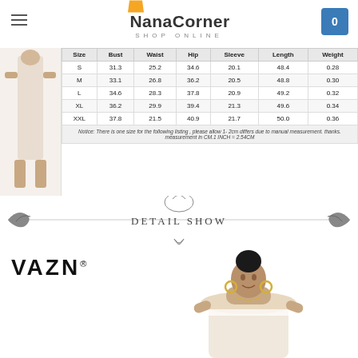NanaCorner SHOP ONLINE
| Size | Bust | Waist | Hip | Sleeve | Length | Weight |
| --- | --- | --- | --- | --- | --- | --- |
| S | 31.3 | 25.2 | 34.6 | 20.1 | 48.4 | 0.28 |
| M | 33.1 | 26.8 | 36.2 | 20.5 | 48.8 | 0.30 |
| L | 34.6 | 28.3 | 37.8 | 20.9 | 49.2 | 0.32 |
| XL | 36.2 | 29.9 | 39.4 | 21.3 | 49.6 | 0.34 |
| XXL | 37.8 | 21.5 | 40.9 | 21.7 | 50.0 | 0.36 |
Notice: There is one size for the following listing , please allow 1- 2cm differs due to manual measurement. thanks. measurement in CM.1 INCH = 2.54CM
[Figure (illustration): Decorative banner with ornamental scrollwork and text 'DETAIL SHOW']
[Figure (logo): VAZN brand logo with registered trademark symbol]
[Figure (photo): Model wearing off-shoulder cream/beige dress]